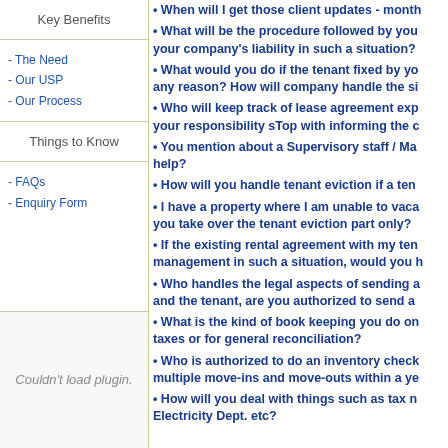Key Benefits
- The Need
- Our USP
- Our Process
Things to Know
- FAQs
- Enquiry Form
Couldn't load plugin.
• When will I get those client updates - month...
• What will be the procedure followed by you... your company's liability in such a situation?
• What would you do if the tenant fixed by yo... any reason? How will company handle the si...
• Who will keep track of lease agreement exp... your responsibility sTop with informing the c...
• You mention about a Supervisory staff / Ma... help?
• How will you handle tenant eviction if a ten...
• I have a property where I am unable to vaca... you take over the tenant eviction part only?
• If the existing rental agreement with my ten... management in such a situation, would you h...
• Who handles the legal aspects of sending a... and the tenant, are you authorized to send a...
• What is the kind of book keeping you do on... taxes or for general reconciliation?
• Who is authorized to do an inventory check... multiple move-ins and move-outs within a ye...
• How will you deal with things such as tax n... Electricity Dept. etc?